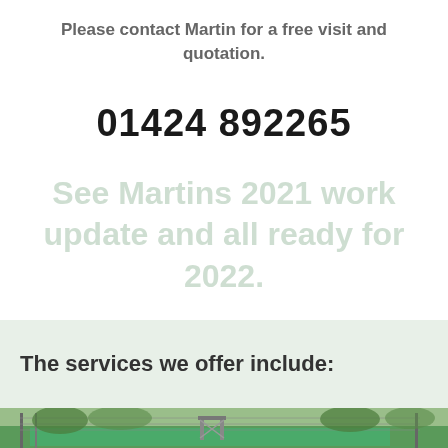Please contact Martin for a free visit and quotation.
01424 892265
See Martins 2021 work update and all ready for 2022.
The services we offer include:
[Figure (photo): Outdoor sports court with green surface and fencing, surrounded by trees]